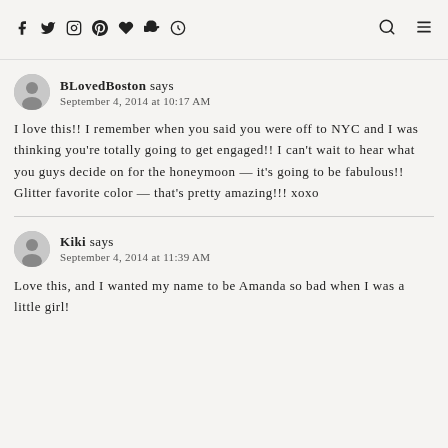Social media/blog header icons
BLovedBoston says
September 4, 2014 at 10:17 AM
I love this!! I remember when you said you were off to NYC and I was thinking you're totally going to get engaged!! I can't wait to hear what you guys decide on for the honeymoon — it's going to be fabulous!! Glitter favorite color — that's pretty amazing!!! xoxo
Kiki says
September 4, 2014 at 11:39 AM
Love this, and I wanted my name to be Amanda so bad when I was a little girl!